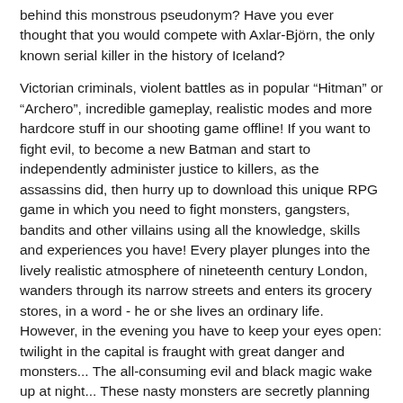behind this monstrous pseudonym? Have you ever thought that you would compete with Axlar-Björn, the only known serial killer in the history of Iceland?
Victorian criminals, violent battles as in popular “Hitman” or “Archero”, incredible gameplay, realistic modes and more hardcore stuff in our shooting game offline! If you want to fight evil, to become a new Batman and start to independently administer justice to killers, as the assassins did, then hurry up to download this unique RPG game in which you need to fight monsters, gangsters, bandits and other villains using all the knowledge, skills and experiences you have! Every player plunges into the lively realistic atmosphere of nineteenth century London, wanders through its narrow streets and enters its grocery stores, in a word - he or she lives an ordinary life. However, in the evening you have to keep your eyes open: twilight in the capital is fraught with great danger and monsters... The all-consuming evil and black magic wake up at night... These nasty monsters are secretly planning to destroy the world, and your aim is to prevent this plan! Do you want to become a hero and improve your leadership skills?